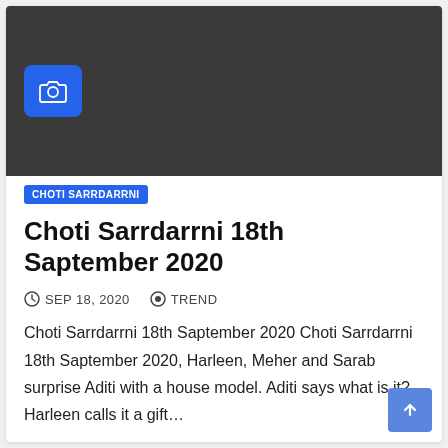[Figure (photo): Dark gray image placeholder with a blue camera icon box in the upper-left area]
CHOTI SARRDARRNI
Choti Sarrdarrni 18th Saptember 2020
SEP 18, 2020   TREND
Choti Sarrdarrni 18th Saptember 2020 Choti Sarrdarrni 18th Saptember 2020, Harleen, Meher and Sarab surprise Aditi with a house model. Aditi says what is it? Harleen calls it a gift…